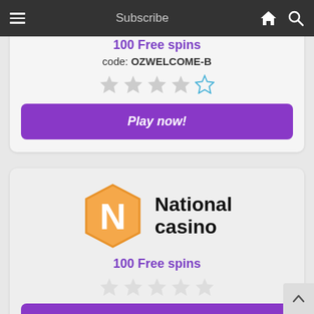Subscribe
100 Free spins
code: OZWELCOME-B
[Figure (other): Star rating: 4 filled grey stars and 1 outlined blue star (out of 5)]
Play now!
[Figure (logo): National Casino logo: hexagonal orange badge with white 'N' letter, beside bold text 'National casino']
100 Free spins
[Figure (other): Star rating: 5 outlined grey stars (out of 5)]
Play now!